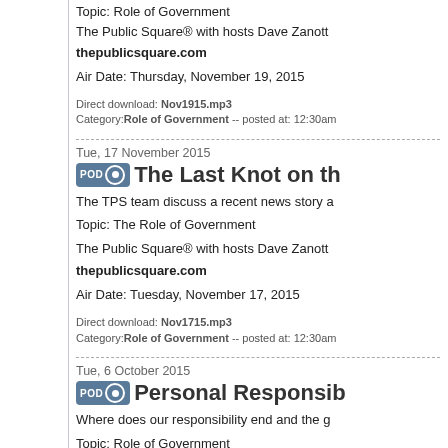Topic: Role of Government
The Public Square® with hosts Dave Zanott...
thepublicsquare.com
Air Date: Thursday, November 19, 2015
Direct download: Nov1915.mp3 Category: Role of Government -- posted at: 12:30am
Tue, 17 November 2015
The Last Knot on th...
The TPS team discuss a recent news story a...
Topic: The Role of Government
The Public Square® with hosts Dave Zanott...
thepublicsquare.com
Air Date: Tuesday, November 17, 2015
Direct download: Nov1715.mp3 Category: Role of Government -- posted at: 12:30am
Tue, 6 October 2015
Personal Responsib...
Where does our responsibility end and the g...
Topic: Role of Government
The Public Square® with hosts Dave Zan...